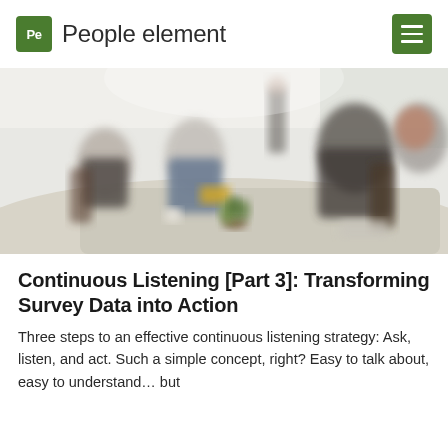People element
[Figure (photo): Blurred office meeting room scene with several people seated around a table, with a small plant in the foreground. The image is intentionally out of focus.]
Continuous Listening [Part 3]: Transforming Survey Data into Action
Three steps to an effective continuous listening strategy: Ask, listen, and act. Such a simple concept, right? Easy to talk about, easy to understand… but